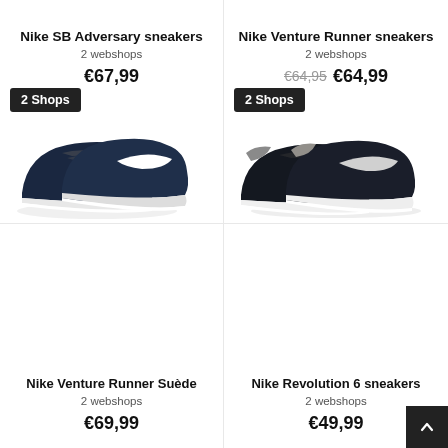Nike SB Adversary sneakers
2 webshops
€67,99
[Figure (photo): Nike SB Adversary sneakers - dark navy blue suede shoes with white Nike swoosh and white sole, shown as a pair]
Nike Venture Runner sneakers
2 webshops
€64,95 €64,99
[Figure (photo): Nike Venture Runner sneakers - dark navy/black shoes with white Nike swoosh and white sole, grey heel, shown as a pair]
Nike Venture Runner Suède
2 webshops
€69,99
Nike Revolution 6 sneakers
2 webshops
€49,99